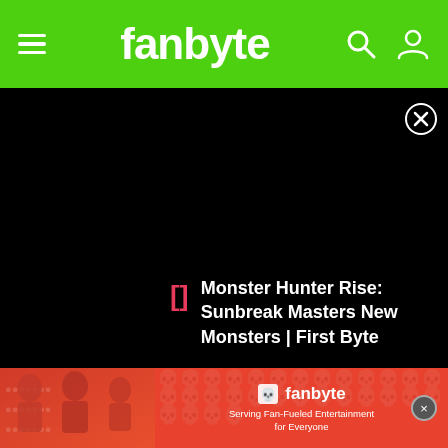[Figure (screenshot): Fanbyte website header with green background, hamburger menu icon on left, fanbyte logo in center, search and user icons on right]
[Figure (screenshot): Black video player area showing Monster Hunter Rise: Sunbreak Masters New Monsters | First Byte video with title overlay and bracket icon in red]
[Figure (screenshot): Fanbyte advertisement banner at bottom with red/orange background showing people playing games and fanbyte logo with tagline Serving Fan-Fueled Entertainment for Everyone]